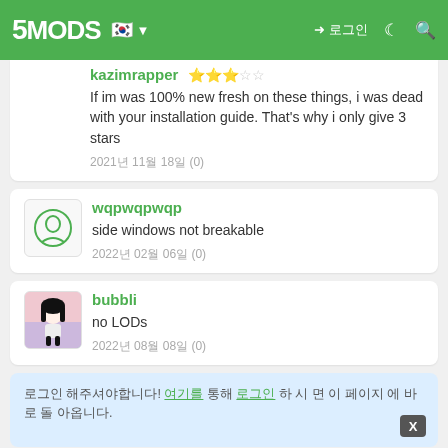5MODS
kazimrapper
If im was 100% new fresh on these things, i was dead with your installation guide. That's why i only give 3 stars
2021년 11월 18일 (0)
wqpwqpwqp
side windows not breakable
2022년 02월 06일 (0)
bubbli
no LODs
2022년 08월 08일 (0)
로그인 해주셔야합니다! 여기를 통해 로그인 하 시 면 이 페이지 에 바 로 돌 아옵니다.
More mods by [DTD]Dennissaurus: